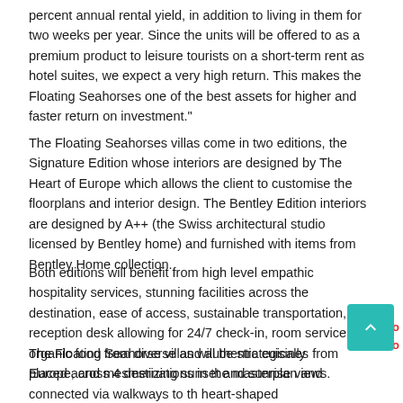percent annual rental yield, in addition to living in them for two weeks per year. Since the units will be offered to as a premium product to leisure tourists on a short-term rent as hotel suites, we expect a very high return. This makes the Floating Seahorses one of the best assets for higher and faster return on investment."
The Floating Seahorses villas come in two editions, the Signature Edition whose interiors are designed by The Heart of Europe which allows the client to customise the floorplans and interior design. The Bentley Edition interiors are designed by A++ (the Swiss architectural studio licensed by Bentley home) and furnished with items from Bentley Home collection.
Both editions will benefit from high level empathic hospitality services, stunning facilities across the destination, ease of access, sustainable transportation, a reception desk allowing for 24/7 check-in, room service with organic food from diverse and authentic cuisines from Europe, and mesmerizing sunset and sunrise views.
The Floating Seahorse villas will be strategically placed across 4 destinations in the masterplan and connected via walkways to the heart-shaped Honeymoon Island, the vibrant Main Europe island, the